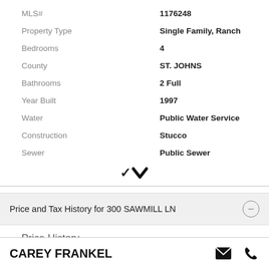| Label | Value |
| --- | --- |
| MLS# | 1176248 |
| Property Type | Single Family, Ranch |
| Bedrooms | 4 |
| County | ST. JOHNS |
| Bathrooms | 2 Full |
| Year Built | 1997 |
| Water | Public Water Service |
| Construction | Stucco |
| Sewer | Public Sewer |
▼
Price and Tax History for 300 SAWMILL LN
Price History
CAREY FRANKEL